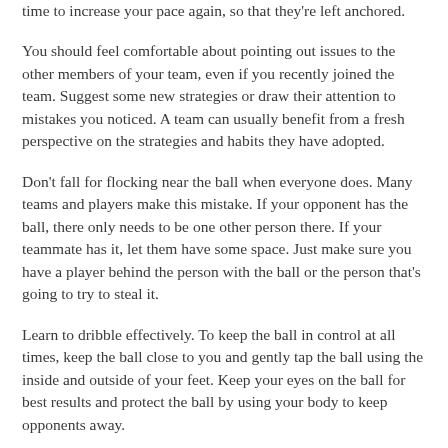time to increase your pace again, so that they're left anchored.
You should feel comfortable about pointing out issues to the other members of your team, even if you recently joined the team. Suggest some new strategies or draw their attention to mistakes you noticed. A team can usually benefit from a fresh perspective on the strategies and habits they have adopted.
Don't fall for flocking near the ball when everyone does. Many teams and players make this mistake. If your opponent has the ball, there only needs to be one other person there. If your teammate has it, let them have some space. Just make sure you have a player behind the person with the ball or the person that's going to try to steal it.
Learn to dribble effectively. To keep the ball in control at all times, keep the ball close to you and gently tap the ball using the inside and outside of your feet. Keep your eyes on the ball for best results and protect the ball by using your body to keep opponents away.
Before each soccer match, make sure you take the time to do some pregame warm-ups and stretching. By following this pregame ritual, you will decrease your chances of sustaining a connective tissue injury. By